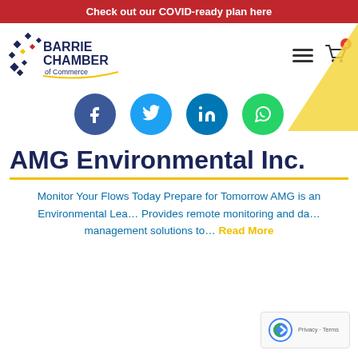Check out our COVID-ready plan here
[Figure (logo): Barrie Chamber of Commerce logo with diamond pattern and swoosh]
[Figure (infographic): Social media icons: Facebook, Twitter, LinkedIn, WhatsApp]
AMG Environmental Inc.
Monitor Your Flows Today Prepare for Tomorrow AMG is an Environmental Lea... Provides remote monitoring and da... management solutions to... Read More